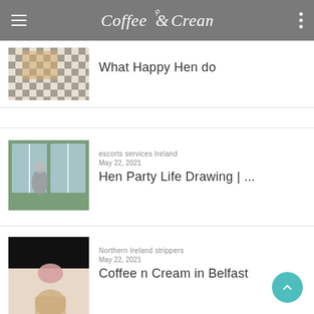Coffee & Cream
[Figure (photo): Thumbnail of checkered floor with table setting]
What Happy Hen do
[Figure (photo): Interior room with person sitting by window]
escorts services Ireland
May 22, 2021
Hen Party Life Drawing | ...
[Figure (photo): Model photo — dark top, figure below]
Northern Ireland strippers
May 22, 2021
Coffee n Cream in Belfast